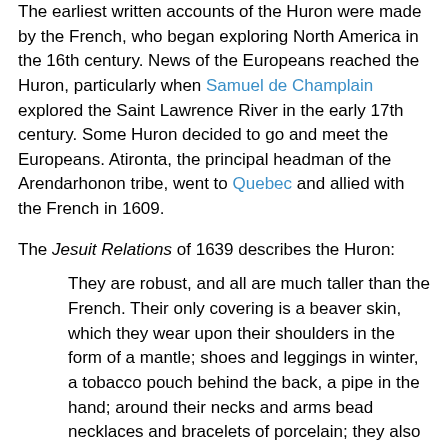The earliest written accounts of the Huron were made by the French, who began exploring North America in the 16th century. News of the Europeans reached the Huron, particularly when Samuel de Champlain explored the Saint Lawrence River in the early 17th century. Some Huron decided to go and meet the Europeans. Atironta, the principal headman of the Arendarhonon tribe, went to Quebec and allied with the French in 1609.
The Jesuit Relations of 1639 describes the Huron:
They are robust, and all are much taller than the French. Their only covering is a beaver skin, which they wear upon their shoulders in the form of a mantle; shoes and leggings in winter, a tobacco pouch behind the back, a pipe in the hand; around their necks and arms bead necklaces and bracelets of porcelain; they also suspend these from their ears, and around their locks of hair. They grease their hair and faces; they also streak their faces with black and red paint.